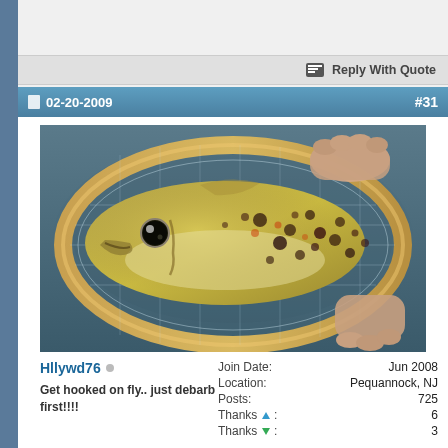02-20-2009  #31
[Figure (photo): Close-up photo of a brown trout held in a wooden fishing net with a mesh lining, over water. The fish has distinctive spots and a yellow-green coloring.]
Hllywd76 (online indicator)
Get hooked on fly.. just debarb first!!!!
| Join Date: | Jun 2008 |
| Location: | Pequannock, NJ |
| Posts: | 725 |
| Thanks ↑: | 6 |
| Thanks ↓: | 3 |